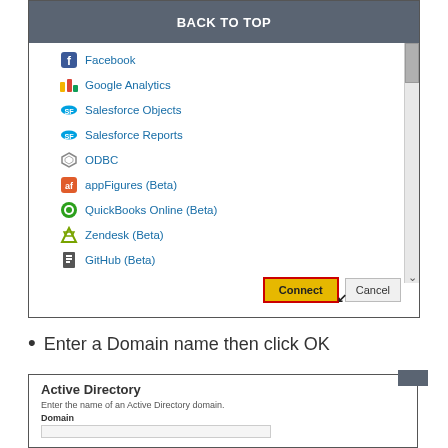[Figure (screenshot): Software dialog showing a list of data source connectors including Facebook, Google Analytics, Salesforce Objects, Salesforce Reports, ODBC, appFigures (Beta), QuickBooks Online (Beta), Zendesk (Beta), GitHub (Beta), with Connect and Cancel buttons at the bottom. Connect button is highlighted with a red border.]
Enter a Domain name then click OK
[Figure (screenshot): Active Directory dialog with fields: title 'Active Directory', subtitle 'Enter the name of an Active Directory domain.', Domain label and an input field.]